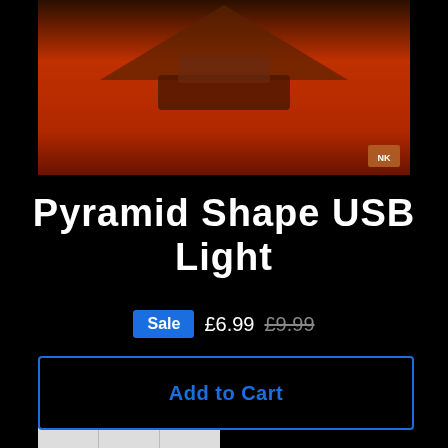[Figure (photo): Product image of Pyramid Shape USB Light on dark reddish-orange gradient background with brand badge in bottom right corner]
Pyramid Shape USB Light
Sale £6.99 £9.99
Tax included. Shipping calculated at checkout.
QUANTITY
1
Add to Cart